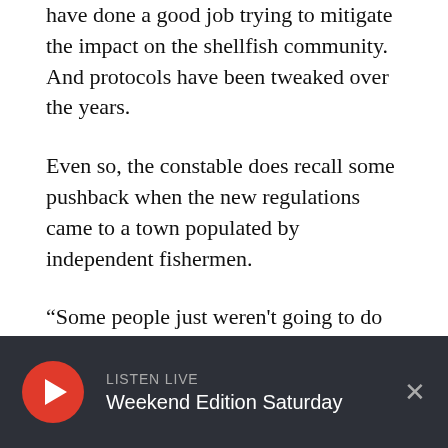have done a good job trying to mitigate the impact on the shellfish community. And protocols have been tweaked over the years.
Even so, the constable does recall some pushback when the new regulations came to a town populated by independent fishermen.
“Some people just weren't going to do it. Some people just weren't going to fish,” Mankevetch recalls. “But we’ve all just adjusted to it.”
'One Bad Vibrio Thing Can Spoil The Whole Thing'
[Figure (other): Audio player bar with red play button, LISTEN LIVE label, Weekend Edition Saturday show name, and close X button on dark background]